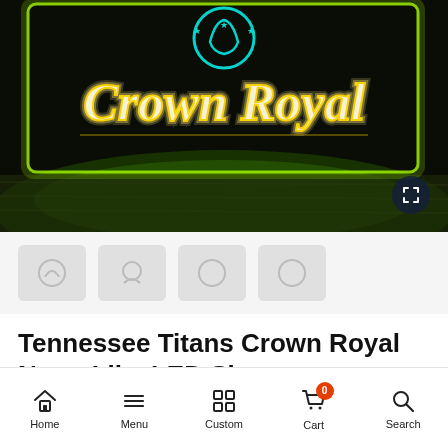[Figure (photo): A neon-like LED sign showing the Crown Royal logo and script text 'Crown Royal' in glowing gold/white light with green border lighting, on a dark background with green ambient glow. The Tennessee Titans logo (helmet with stars) appears in teal/green at the top.]
[Figure (photo): Row of four small product thumbnail images showing alternate views of the LED sign, displayed as gray placeholder circles on a light gray background.]
Tennessee Titans Crown Royal Neon-Like LED Sign
Home  Menu  Custom  Cart 0  Search